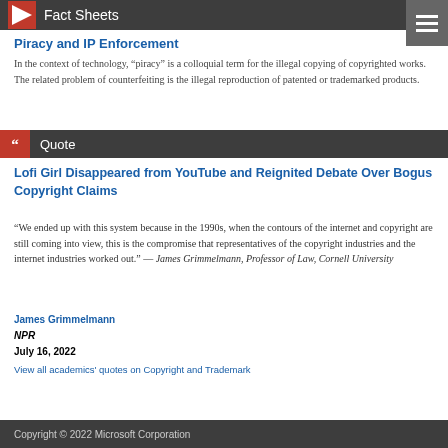Fact Sheets
Piracy and IP Enforcement
In the context of technology, “piracy” is a colloquial term for the illegal copying of copyrighted works. The related problem of counterfeiting is the illegal reproduction of patented or trademarked products.
Quote
Lofi Girl Disappeared from YouTube and Reignited Debate Over Bogus Copyright Claims
“We ended up with this system because in the 1990s, when the contours of the internet and copyright are still coming into view, this is the compromise that representatives of the copyright industries and the internet industries worked out.” — James Grimmelmann, Professor of Law, Cornell University
James Grimmelmann
NPR
July 16, 2022
View all academics’ quotes on Copyright and Trademark
Copyright © 2022 Microsoft Corporation